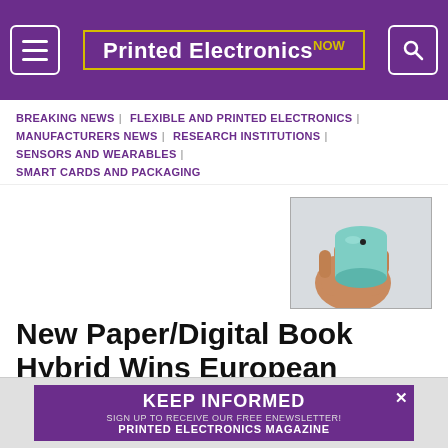Printed Electronics NOW
BREAKING NEWS | FLEXIBLE AND PRINTED ELECTRONICS | MANUFACTURERS NEWS | RESEARCH INSTITUTIONS | SENSORS AND WEARABLES | SMART CARDS AND PACKAGING
[Figure (photo): A hand holding a rolled-up flexible electronic device (cylindrical, teal/green color) against a light background.]
New Paper/Digital Book Hybrid Wins European Printed Electronics Competition
The winning proposal will enable readers to access
KEEP INFORMED — SIGN UP TO RECEIVE OUR FREE ENEWSLETTER! PRINTED ELECTRONICS MAGAZINE